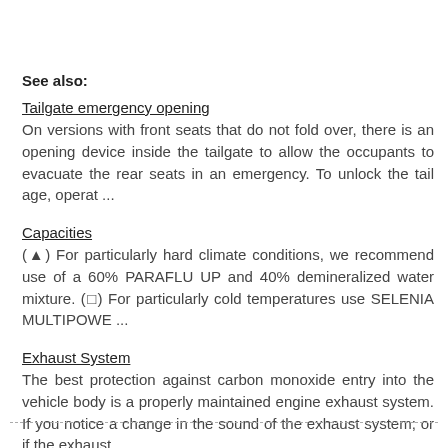See also:
Tailgate emergency opening
On versions with front seats that do not fold over, there is an opening device inside the tailgate to allow the occupants to evacuate the rear seats in an emergency. To unlock the tail age, operat ...
Capacities
(▲) For particularly hard climate conditions, we recommend use of a 60% PARAFLU UP and 40% demineralized water mixture. (□) For particularly cold temperatures use SELENIA MULTIPOWE ...
Exhaust System
The best protection against carbon monoxide entry into the vehicle body is a properly maintained engine exhaust system. If you notice a change in the sound of the exhaust system; or if the exhaust ...